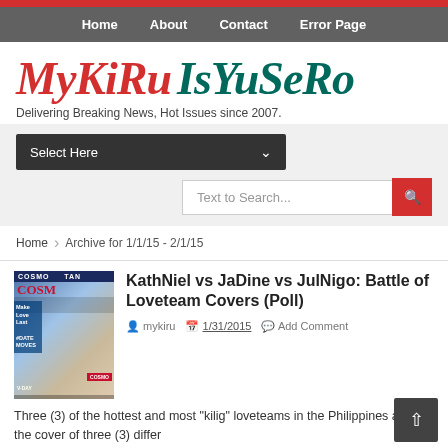Home  About  Contact  Error Page
MyKiRu IsYuSeRo
Delivering Breaking News, Hot Issues since 2007.
Select Here
Text to Search...
Home › Archive for 1/1/15 - 2/1/15
[Figure (photo): Magazine cover featuring a couple, Cosmopolitan style]
KathNiel vs JaDine vs JulNigo: Battle of Loveteam Covers (Poll)
mykiru  1/31/2015  Add Comment
Three (3) of the hottest and most "kilig" loveteams in the Philippines are on the cover of three (3) differ